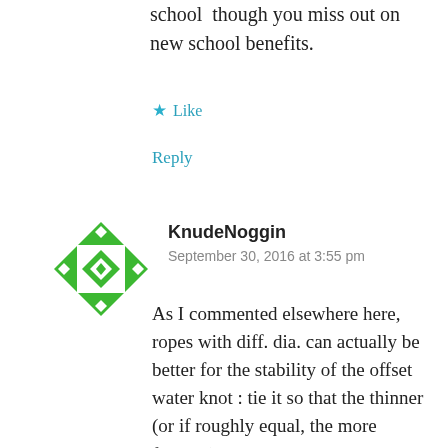school  though you miss out on new school benefits.
★ Like
Reply
[Figure (illustration): Green geometric avatar icon with diamond/arrow pattern]
KnudeNoggin
September 30, 2016 at 3:55 pm
As I commented elsewhere here, ropes with diff. dia. can actually be better for the stability of the offset water knot : tie it so that the thinner (or if roughly equal, the more flexible) rope is the one making the choke of the loaded strands –that would be the GREEN rope in the image at the top of this